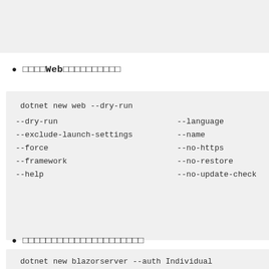□□□□□Web□□□□□□□□□□
dotnet new web --dry-run
--dry-run                    --language
--exclude-launch-settings    --name
--force                      --no-https
--framework                  --no-restore
--help                       --no-update-check
□□□□□□□□□□□□□□□□□□□□□
dotnet new blazorserver --auth Individual
Individual    IndividualB2C  MultiOrg    N